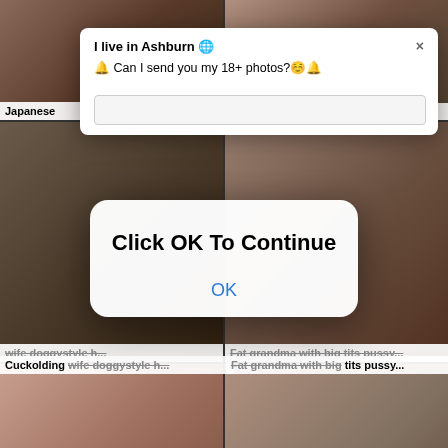[Figure (screenshot): Adult video website screenshot showing a 2x4 grid of video thumbnails with blurred/explicit content, overlaid by two popup dialogs. Top popup: notification-style dialog reading 'I live in Ashburn' with message 'Can I send you my 18+ photos?'. Center popup: 'Click OK To Continue' with an OK button. Video labels visible: 'Japanese', 'Cuckolding wife doggystyle h...', 'Fat grandma with big tits pussy...', 'nadia nyce', 'Bootylicious amateur babe pu...'. Timer '5:54' visible on one thumbnail. Watermark '21NaturalS' on another thumbnail.]